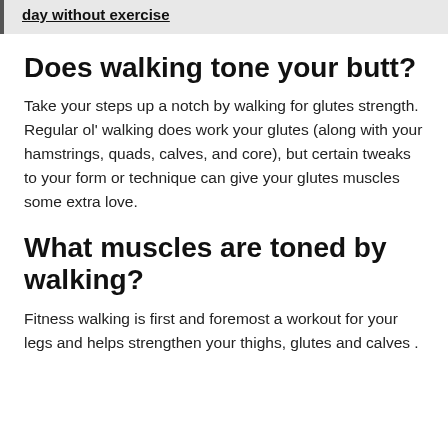day without exercise
Does walking tone your butt?
Take your steps up a notch by walking for glutes strength. Regular ol' walking does work your glutes (along with your hamstrings, quads, calves, and core), but certain tweaks to your form or technique can give your glutes muscles some extra love.
What muscles are toned by walking?
Fitness walking is first and foremost a workout for your legs and helps strengthen your thighs, glutes and calves .